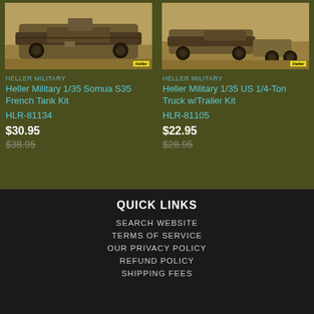[Figure (photo): Heller Military model kit photo showing Somua S35 French Tank on sandy/dirt terrain background]
[Figure (photo): Heller Military model kit photo showing US 1/4-Ton Truck with Trailer on sandy/dirt terrain background]
Heller Military 1/35 Somua S35 French Tank Kit
HLR-81134
$30.95
$38.95
Heller Military 1/35 US 1/4-Ton Truck w/Trailer Kit
HLR-81105
$22.95
$28.95
QUICK LINKS
SEARCH WEBSITE
TERMS OF SERVICE
OUR PRIVACY POLICY
REFUND POLICY
SHIPPING FEES